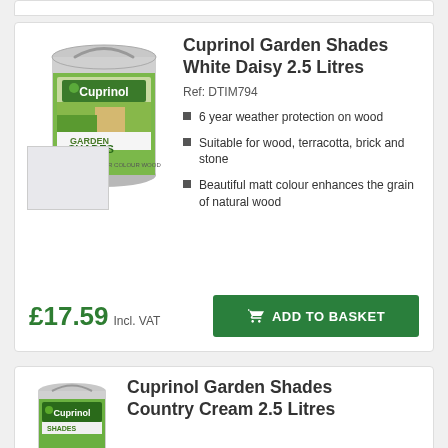[Figure (photo): Cuprinol Garden Shades White Daisy paint can with colour swatch]
Cuprinol Garden Shades White Daisy 2.5 Litres
Ref: DTIM794
6 year weather protection on wood
Suitable for wood, terracotta, brick and stone
Beautiful matt colour enhances the grain of natural wood
£17.59 Incl. VAT
ADD TO BASKET
[Figure (photo): Cuprinol Garden Shades Country Cream paint can (partial)]
Cuprinol Garden Shades Country Cream 2.5 Litres